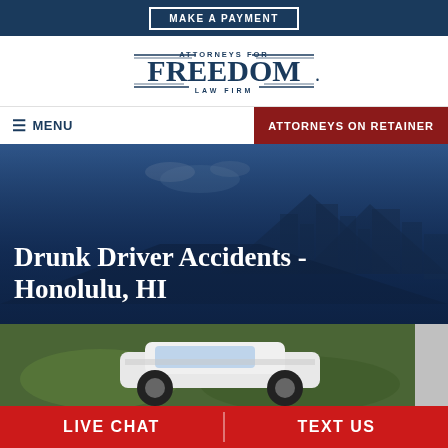MAKE A PAYMENT
[Figure (logo): Attorneys for Freedom Law Firm logo in navy blue with decorative lines]
MENU | ATTORNEYS ON RETAINER
Drunk Driver Accidents - Honolulu, HI
[Figure (photo): Aerial photo of a car accident on a grassy roadside with Honolulu cityscape in background]
LIVE CHAT | TEXT US